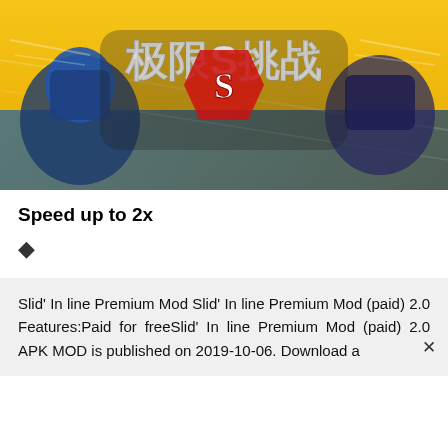[Figure (screenshot): Game app screenshot showing stylized Chinese characters and a robot/mecha character on a yellow and blue background]
Speed up to 2x
◆
Slid' In line Premium Mod Slid' In line Premium Mod (paid) 2.0 Features:Paid for freeSlid' In line Premium Mod (paid) 2.0 APK MOD is published on 2019-10-06. Download a ×